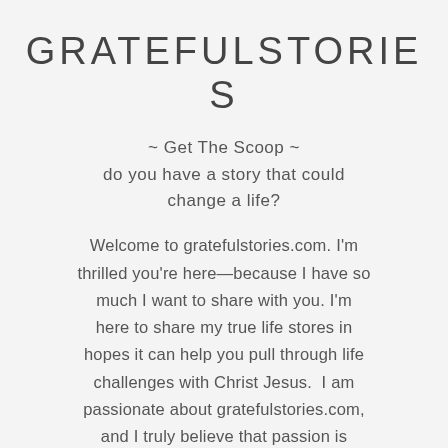GRATEFULSTORIES
~ Get The Scoop ~
do you have a story that could change a life?
Welcome to gratefulstories.com. I'm thrilled you're here—because I have so much I want to share with you. I'm here to share my true life stores in hopes it can help you pull through life challenges with Christ Jesus.  I am passionate about gratefulstories.com, and I truly believe that passion is